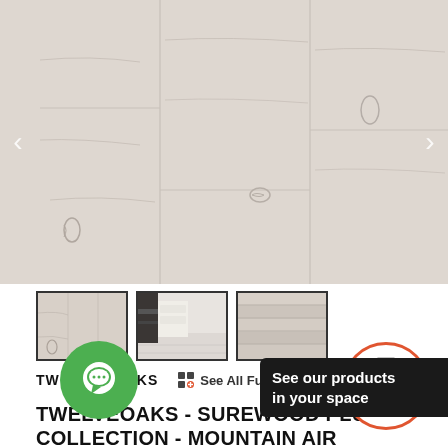[Figure (photo): Close-up photo of light gray/white wood flooring planks (Mountain Air) with subtle grain and knot details. Navigation arrows on left and right sides.]
[Figure (photo): Three thumbnail images: 1) close-up of the white wood flooring, 2) room scene with dark cabinetry and white flooring, 3) side/edge view of flooring planks.]
TWELVEOAKS  See All Fu...
See our products in your space
TWELVEOAKS - SUREWOOD PLUS COLLECTION - MOUNTAIN AIR